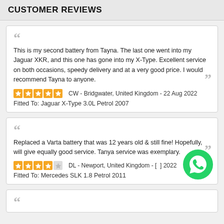CUSTOMER REVIEWS
This is my second battery from Tayna. The last one went into my Jaguar XKR, and this one has gone into my X-Type. Excellent service on both occasions, speedy delivery and at a very good price. I would recommend Tayna to anyone.
CW - Bridgwater, United Kingdom - 22 Aug 2022
Fitted To: Jaguar X-Type 3.0L Petrol 2007
Replaced a Varta battery that was 12 years old & still fine! Hopefully, will give equally good service. Tanya service was exemplary.
DL - Newport, United Kingdom - [date] 2022
Fitted To: Mercedes SLK 1.8 Petrol 2011